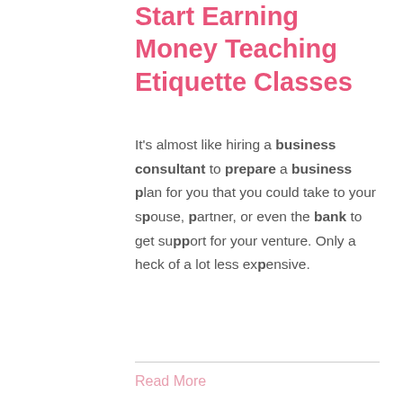Start Earning Money Teaching Etiquette Classes
It's almost like hiring a business consultant to prepare a business plan for you that you could take to your spouse, partner, or even the bank to get support for your venture. Only a heck of a lot less expensive.
Read More